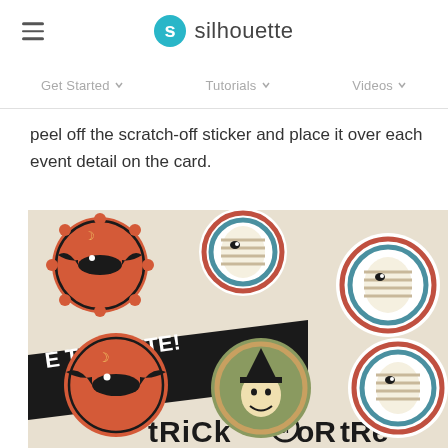silhouette
Get Started   Tutorials   Videos
peel off the scratch-off sticker and place it over each event detail on the card.
[Figure (photo): Photo of Halloween-themed scratch-off stickers showing mummy and bat designs on orange and teal scalloped circles, placed on cards reading 'SAVE THE DATE!' and 'trick or treat']